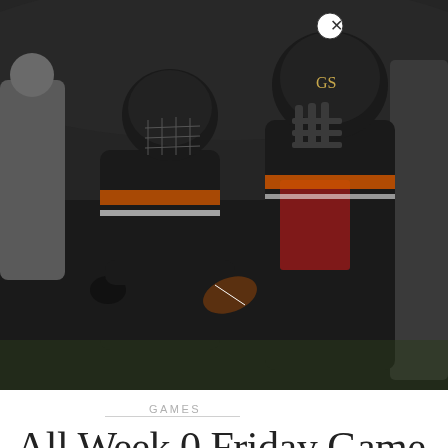[Figure (photo): Two American football players in black jerseys with orange and white stripes celebrating on the field at night. Player #4 with 'GS' logo on helmet is on the right. Both wearing black helmets, gloves. The left player appears to be handing off or celebrating with a football.]
GAMES
All Week 0 Friday Game Results – Orange County